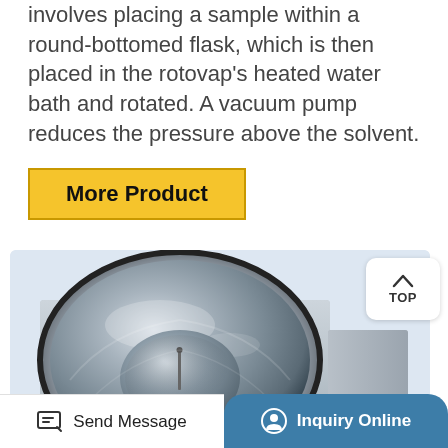involves placing a sample within a round-bottomed flask, which is then placed in the rotovap's heated water bath and rotated. A vacuum pump reduces the pressure above the solvent.
More Product
[Figure (photo): Photograph of a stainless steel heated water bath unit for a rotary evaporator (rotovap), showing a circular polished metal bowl set into a square flat platform with a control unit on the right side. Background is light blue-gray.]
TOP
Send Message | Inquiry Online